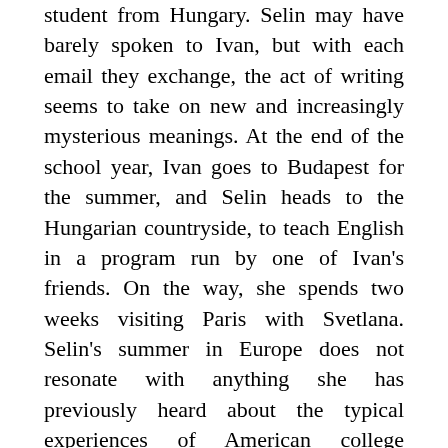student from Hungary. Selin may have barely spoken to Ivan, but with each email they exchange, the act of writing seems to take on new and increasingly mysterious meanings. At the end of the school year, Ivan goes to Budapest for the summer, and Selin heads to the Hungarian countryside, to teach English in a program run by one of Ivan's friends. On the way, she spends two weeks visiting Paris with Svetlana. Selin's summer in Europe does not resonate with anything she has previously heard about the typical experiences of American college students, or indeed of any other kinds of people. For Selin, this is a journey further inside herself: a coming to grips with the ineffable and exhilarating confusion of first love, and with the growing consciousness that she is doomed to become a writer. With superlative emotional and intellectual